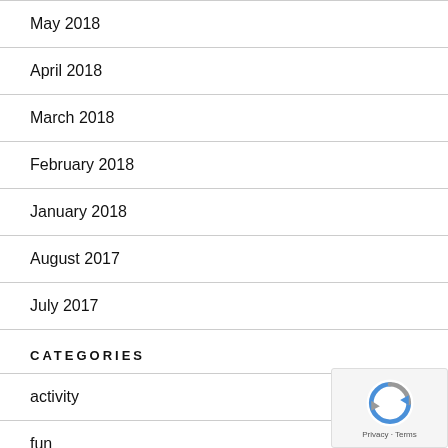May 2018
April 2018
March 2018
February 2018
January 2018
August 2017
July 2017
CATEGORIES
activity
fun